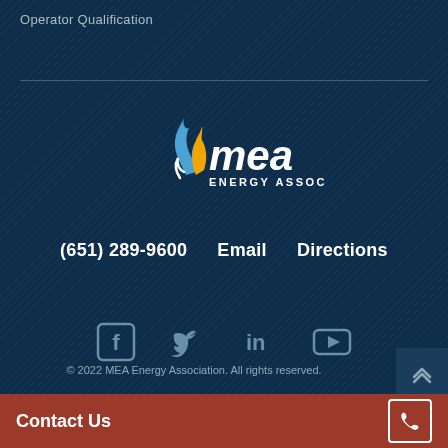Operator Qualification
[Figure (logo): MEA Energy Association logo with blue and yellow flame icon and white text]
(651) 289-9600   Email   Directions
[Figure (infographic): Social media icons: Facebook, Twitter, LinkedIn, YouTube]
© 2022 MEA Energy Association. All rights reserved.
Contact Us